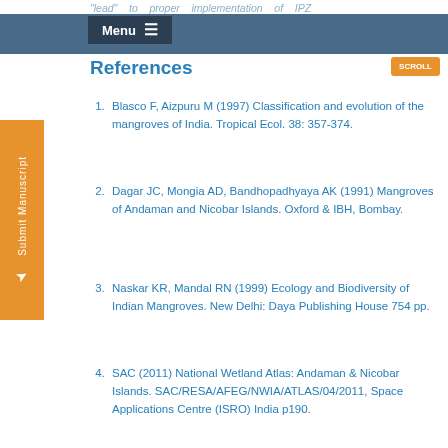"lead" to proper implementation of IPZ
References
Blasco F, Aizpuru M (1997) Classification and evolution of the mangroves of India. Tropical Ecol. 38: 357-374.
Dagar JC, Mongia AD, Bandhopadhyaya AK (1991) Mangroves of Andaman and Nicobar Islands. Oxford & IBH, Bombay.
Naskar KR, Mandal RN (1999) Ecology and Biodiversity of Indian Mangroves. New Delhi: Daya Publishing House 754 pp.
SAC (2011) National Wetland Atlas: Andaman & Nicobar Islands. SAC/RESA/AFEG/NWIA/ATLAS/04/2011, Space Applications Centre (ISRO) India p190.